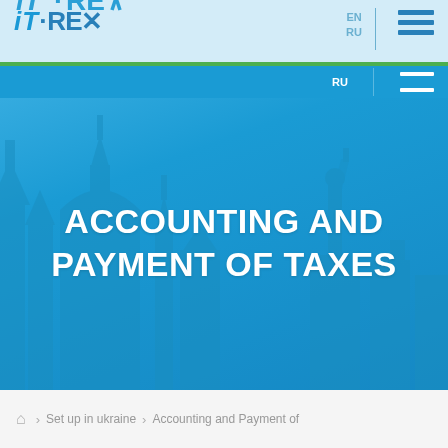[Figure (screenshot): iT-REX website header with logo, language selector (EN/RU), hamburger menu, green accent bar, and large blue hero banner with Ukrainian city silhouette]
ACCOUNTING AND PAYMENT OF TAXES
Set up in ukraine > Accounting and Payment of